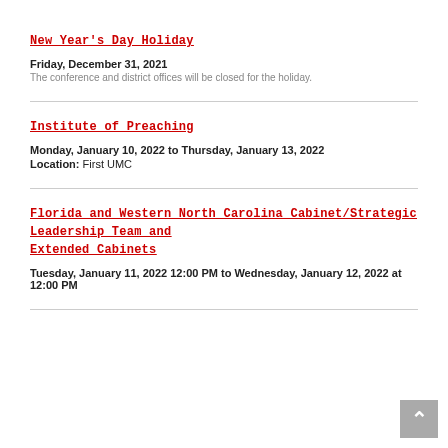New Year's Day Holiday
Friday, December 31, 2021
The conference and district offices will be closed for the holiday.
Institute of Preaching
Monday, January 10, 2022 to Thursday, January 13, 2022
Location: First UMC
Florida and Western North Carolina Cabinet/Strategic Leadership Team and Extended Cabinets
Tuesday, January 11, 2022 12:00 PM to Wednesday, January 12, 2022 at 12:00 PM